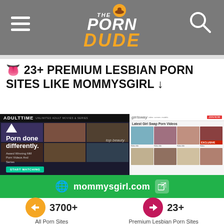The Porn Dude
👅 23+ PREMIUM LESBIAN PORN SITES LIKE MOMMYSGIRL ↓
[Figure (screenshot): Two website screenshots side by side: Adult Time on the left showing 'Porn done differently. Award Winning Milf Porn Videos And Series' with dark grid layout, and Girlsway on the right showing 'Latest Girl Swap Porn Videos' with thumbnail grid.]
🌐 mommysgirl.com ↗
3700+ All Porn Sites
23+ Premium Lesbian Porn Sites